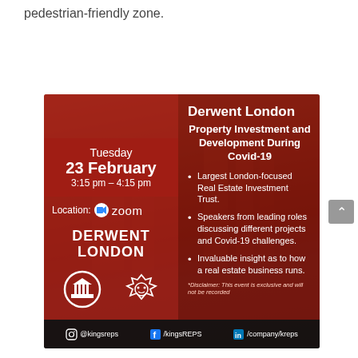pedestrian-friendly zone.
[Figure (infographic): Event flyer for Derwent London talk on Property Investment and Development During Covid-19. Tuesday 23 February, 3:15 pm – 4:15 pm, Location: Zoom. Features Derwent London branding, bullet points about the event, social media handles @kingsreps / kingsREPS / company/kreps. Disclaimer: This event is exclusive and will not be recorded.]